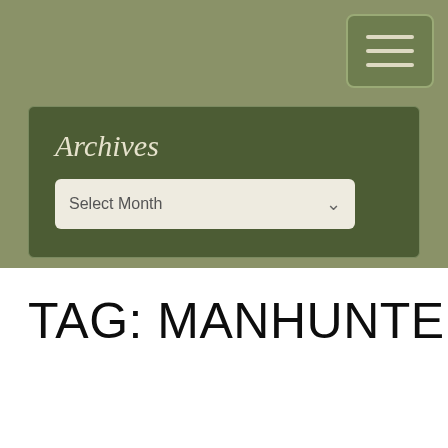[Figure (screenshot): Hamburger menu button (three horizontal lines) on olive green background, top right corner]
Archives
[Figure (screenshot): Dropdown select widget with 'Select Month' placeholder and dropdown arrow]
TAG: MANHUNTER